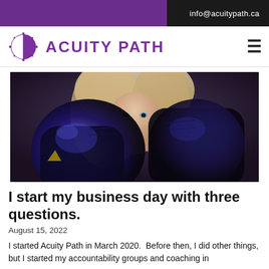info@acuitypath.ca
[Figure (logo): Acuity Path logo with circular half-moon icon and purple text reading ACUITY PATH, hamburger menu icon on right]
[Figure (photo): Woman with blonde hair looking over black boxing gloves held up toward the camera in a fighting stance]
I start my business day with three questions.
August 15, 2022
I started Acuity Path in March 2020.  Before then, I did other things, but I started my accountability groups and coaching in